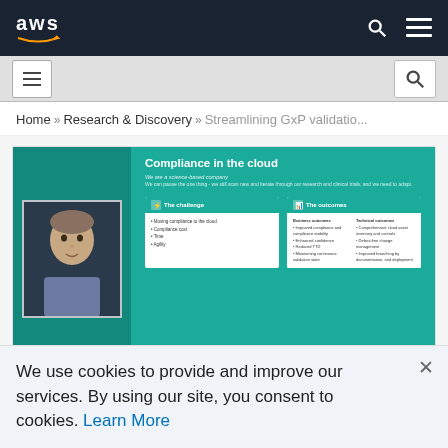AWS navigation bar with logo, search and menu icons
[Figure (screenshot): Secondary navigation bar with hamburger menu and search icon]
Home » Research & Discovery » Streamlining GxP validatio...
[Figure (screenshot): AWS presentation slide screenshot showing 'Compliance in the cloud' with presenter thumbnail on left and slide content on right including 'The challenge' and 'The outcomes' sections]
We use cookies to provide and improve our services. By using our site, you consent to cookies. Learn More